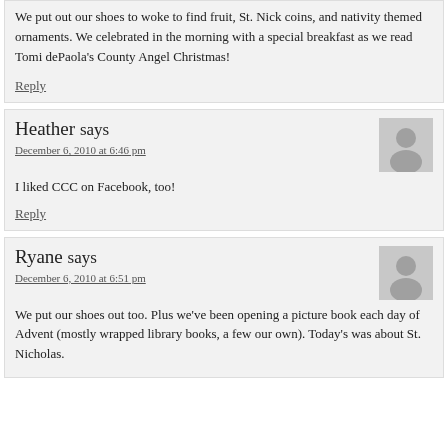We put out our shoes to woke to find fruit, St. Nick coins, and nativity themed ornaments. We celebrated in the morning with a special breakfast as we read Tomi dePaola's County Angel Christmas!
Reply
Heather says
December 6, 2010 at 6:46 pm
I liked CCC on Facebook, too!
Reply
Ryane says
December 6, 2010 at 6:51 pm
We put our shoes out too. Plus we've been opening a picture book each day of Advent (mostly wrapped library books, a few our own). Today's was about St. Nicholas.